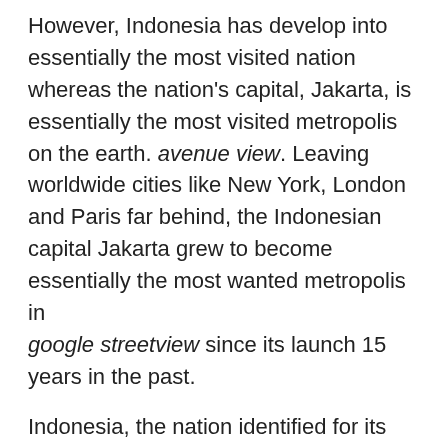However, Indonesia has develop into essentially the most visited nation whereas the nation's capital, Jakarta, is essentially the most visited metropolis on the earth. avenue view. Leaving worldwide cities like New York, London and Paris far behind, the Indonesian capital Jakarta grew to become essentially the most wanted metropolis in google streetview since its launch 15 years in the past.
Indonesia, the nation identified for its stunning seashores, tropical getaways, stunning traditions, heat individuals, and naturally its inhabitants of Komodo dragons, is likely one of the most visited nations on the earth. Earlier than the world was hit by the pandemic, Indonesia had welcomed almost 16 million guests!
Along with Indonesia, the US, Japan, Mexico, Brazil,